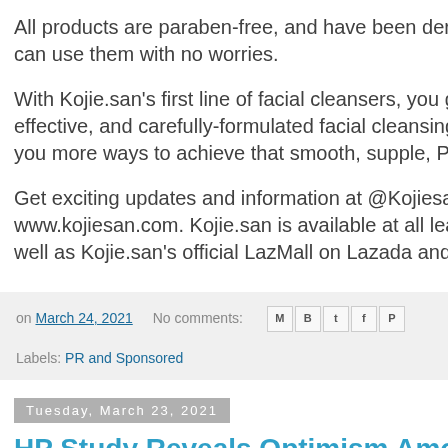All products are paraben-free, and have been derm... can use them with no worries.
With Kojie.san's first line of facial cleansers, you ge... effective, and carefully-formulated facial cleansing... you more ways to achieve that smooth, supple, Pu...
Get exciting updates and information at @Kojiesan... www.kojiesan.com. Kojie.san is available at all lea... well as Kojie.san's official LazMall on Lazada and M...
on March 24, 2021   No comments:
Labels: PR and Sponsored
Tuesday, March 23, 2021
HP Study Reveals Optimism Among SM...